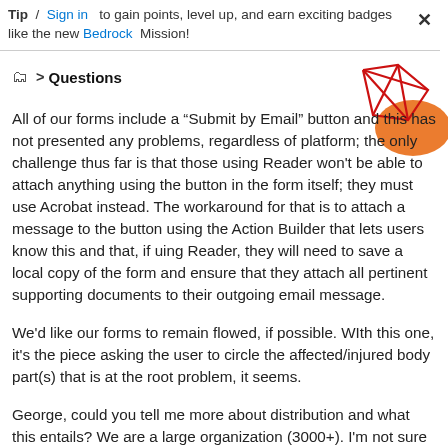Tip / Sign in to gain points, level up, and earn exciting badges like the new Bedrock Mission!
Questions
All of our forms include a "Submit by Email" button and this has not presented any problems, regardless of platform; the only challenge thus far is that those using Reader won't be able to attach anything using the button in the form itself; they must use Acrobat instead. The workaround for that is to attach a message to the button using the Action Builder that lets users know this and that, if uing Reader, they will need to save a local copy of the form and ensure that they attach all pertinent supporting documents to their outgoing email message.
We'd like our forms to remain flowed, if possible. WIth this one, it's the piece asking the user to circle the affected/injured body part(s) that is at the root problem, it seems.
George, could you tell me more about distribution and what this entails? We are a large organization (3000+). I'm not sure of the particulars of our particular deployment...